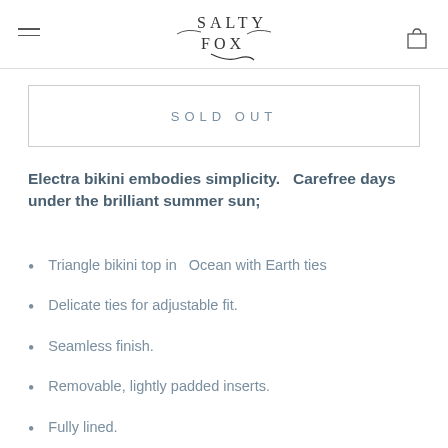SALTY FOX
SOLD OUT
Electra bikini embodies simplicity.  Carefree days under the brilliant summer sun;
Triangle bikini top in   Ocean with Earth ties
Delicate ties for adjustable fit.
Seamless finish.
Removable, lightly padded inserts.
Fully lined.